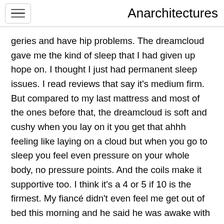Anarchitectures
geries and have hip problems. The dreamcloud gave me the kind of sleep that I had given up hope on. I thought I just had permanent sleep issues. I read reviews that say it's medium firm. But compared to my last mattress and most of the ones before that, the dreamcloud is soft and cushy when you lay on it you get that ahhh feeling like laying on a cloud but when you go to sleep you feel even pressure on your whole body, no pressure points. And the coils make it supportive too. I think it's a 4 or 5 if 10 is the firmest. My fiancé didn't even feel me get out of bed this morning and he said he was awake with his eyes open when I got up. He didn't know I was out of bed until he saw me leave the room. This mattress is a dream come true for me. Absolutely life changing. I